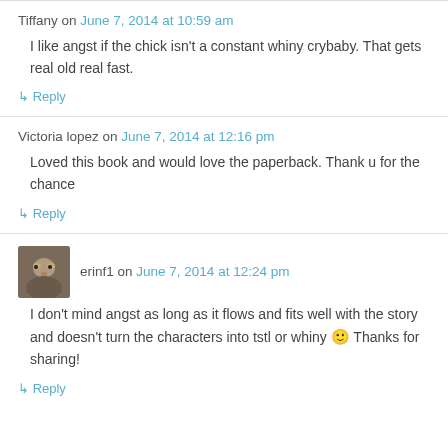Tiffany on June 7, 2014 at 10:59 am
I like angst if the chick isn't a constant whiny crybaby. That gets real old real fast.
↳ Reply
Victoria lopez on June 7, 2014 at 12:16 pm
Loved this book and would love the paperback. Thank u for the chance
↳ Reply
erinf1 on June 7, 2014 at 12:24 pm
I don't mind angst as long as it flows and fits well with the story and doesn't turn the characters into tstl or whiny 🙂 Thanks for sharing!
↳ Reply